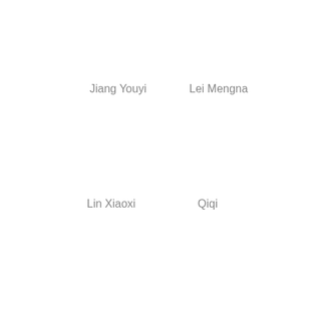Jiang Youyi
Lei Mengna
Lin Xiaoxi
Qiqi